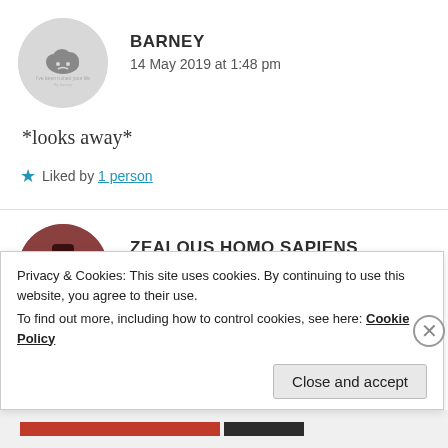[Figure (photo): Circular avatar for user BARNEY — grey circle with a small dark cloud icon in the center and small text below it]
BARNEY
14 May 2019 at 1:48 pm
*looks away*
★ Liked by 1 person
[Figure (photo): Circular avatar for user ZEALOUS HOMO SAPIENS — dark reddish-brown circle with a figure of a person wearing a hat]
ZEALOUS HOMO SAPIENS
14 May 2019 at 1:49 pm
Privacy & Cookies: This site uses cookies. By continuing to use this website, you agree to their use.
To find out more, including how to control cookies, see here: Cookie Policy
Close and accept